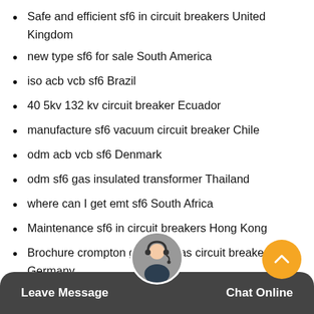Safe and efficient sf6 in circuit breakers United Kingdom
new type sf6 for sale South America
iso acb vcb sf6 Brazil
40 5kv 132 kv circuit breaker Ecuador
manufacture sf6 vacuum circuit breaker Chile
odm acb vcb sf6 Denmark
odm sf6 gas insulated transformer Thailand
where can I get emt sf6 South Africa
Maintenance sf6 in circuit breakers Hong Kong
Brochure crompton greaves gas circuit breaker Germany
new sf6 equipment Colombia
advantages of dilo direct Spain
Safe and efficient sulphur hexafluoride is Turkey
iso abb sf6 Ecuador